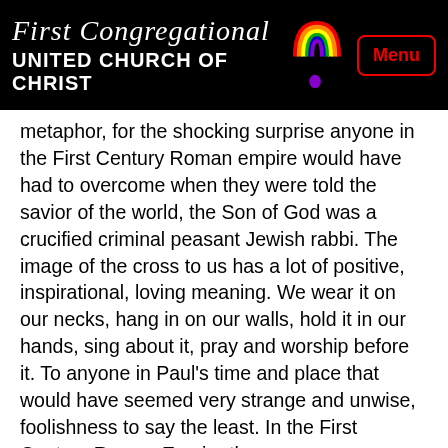First Congregational UNITED CHURCH OF CHRIST
metaphor, for the shocking surprise anyone in the First Century Roman empire would have had to overcome when they were told the savior of the world, the Son of God was a crucified criminal peasant Jewish rabbi. The image of the cross to us has a lot of positive, inspirational, loving meaning. We wear it on our necks, hang in on our walls, hold it in our hands, sing about it, pray and worship before it. To anyone in Paul's time and place that would have seemed very strange and unwise, foolishness to say the least. In the First Century Roman Empire the cross was intended by Rome to mean one thing, state torture and terrorism. 1